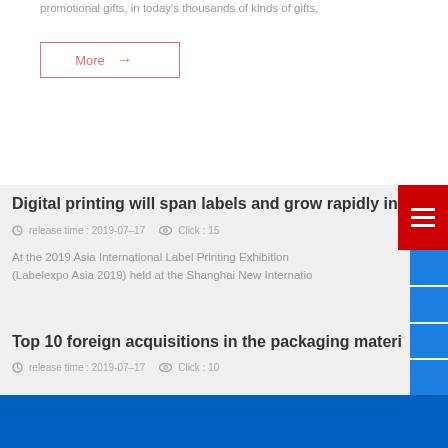promotional gifts, in today's thousands of kinds of gifts,
More →
Digital printing will span labels and grow rapidly in a...
release time : 2019-07-17   Click : 15
At the 2019 Asia International Label Printing Exhibition (Labelexpo Asia 2019) held at the Shanghai New Internatio...
Top 10 foreign acquisitions in the packaging materia...
release time : 2019-07-17   Click : 10